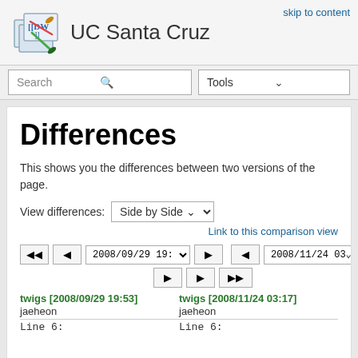UC Santa Cruz
skip to content
Differences
This shows you the differences between two versions of the page.
View differences: Side by Side
Link to this comparison view
◄◄  ◄  [2008/09/29 19:]  ►  ►  ◄  [2008/11/24 03:]  ►►
twigs [2008/09/29 19:53] twigs [2008/11/24 03:17]
jaeheon    jaeheon
Line 6:    Line 6: